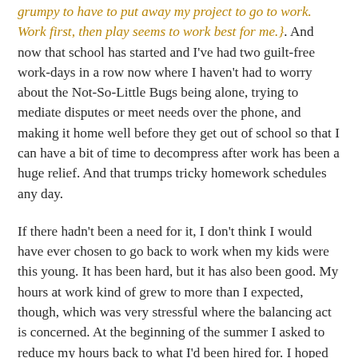grumpy to have to put away my project to go to work. Work first, then play seems to work best for me.}. And now that school has started and I've had two guilt-free work-days in a row now where I haven't had to worry about the Not-So-Little Bugs being alone, trying to mediate disputes or meet needs over the phone, and making it home well before they get out of school so that I can have a bit of time to decompress after work has been a huge relief. And that trumps tricky homework schedules any day.
If there hadn't been a need for it, I don't think I would have ever chosen to go back to work when my kids were this young. It has been hard, but it has also been good. My hours at work kind of grew to more than I expected, though, which was very stressful where the balancing act is concerned. At the beginning of the summer I asked to reduce my hours back to what I'd been hired for. I hoped that I could keep them steady at that level even after summer, and it looks like it is going to work out on both ends. A coworker who is a single mom needs more hours in order to qualify for health benefits so she has been picking up the slack for me. And the reduction in wages that accompanies fewer work hours